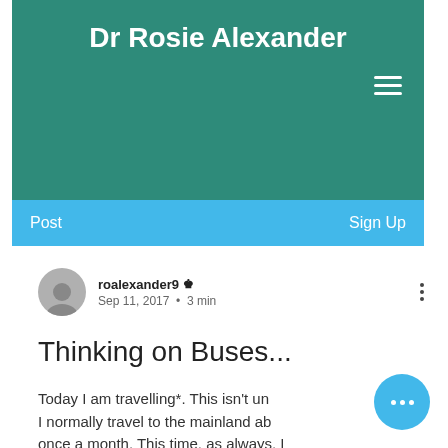Dr Rosie Alexander
[Figure (screenshot): Navigation bar with hamburger menu icon on teal background]
Post    Sign Up
roalexander9 [admin crown] Sep 11, 2017 • 3 min
Thinking on Buses...
Today I am travelling*. This isn't un... I normally travel to the mainland ab... once a month. This time, as always, I